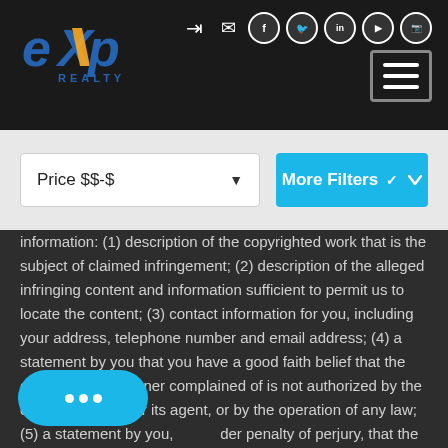[Figure (logo): eXp Realty logo in white and orange on dark header background]
[Figure (screenshot): Navigation header with social media icons (login, email, Facebook, Twitter, LinkedIn, YouTube, Instagram) and hamburger menu button on dark background]
[Figure (screenshot): Filter bar with Price $$-$ dropdown and More Filters button on gray background]
information: (1) description of the copyrighted work that is the subject of claimed infringement; (2) description of the alleged infringing content and information sufficient to permit us to locate the content; (3) contact information for you, including your address, telephone number and email address; (4) a statement by you that you have a good faith belief that the content in the manner complained of is not authorized by the copyright owner, or its agent, or by the operation of any law; (5) a statement by you, under penalty of perjury, that the information in the accurate and that you have the authority to enforce the copyrights that are claimed to be infringed; and (6) a physical